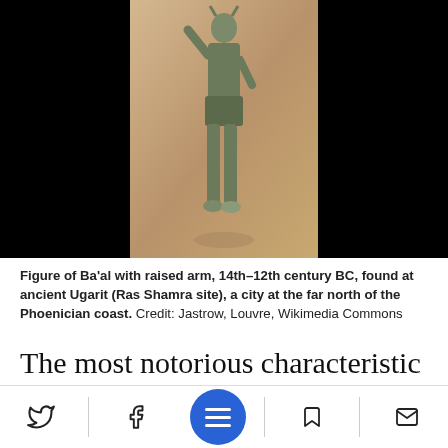[Figure (photo): Bronze figure of Ba'al with raised arm, against black background. Ancient statuette on tan/brown background.]
Figure of Ba'al with raised arm, 14th–12th century BC, found at ancient Ugarit (Ras Shamra site), a city at the far north of the Phoenician coast.  Credit: Jastrow, Louvre, Wikimedia Commons
The most notorious characteristic of Phoenician religion was the practice of child sacrifice